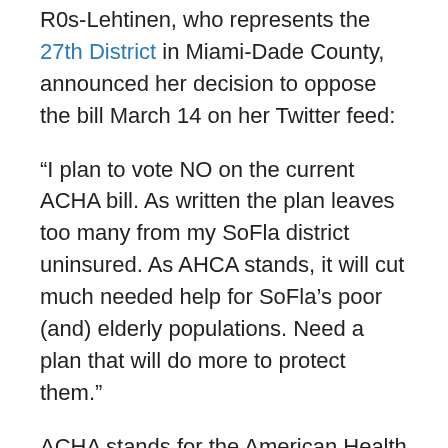R0s-Lehtinen, who represents the 27th District in Miami-Dade County, announced her decision to oppose the bill March 14 on her Twitter feed:
“I plan to vote NO on the current ACHA bill. As written the plan leaves too many from my SoFla district uninsured. As AHCA stands, it will cut much needed help for SoFla’s poor (and) elderly populations. Need a plan that will do more to protect them.”
ACHA stands for the American Health Care Act, which is the formal name of the GOP bill.
In a subsequent statement, Ros-Lehtinen said that after studying the bill and hearing from her constituents, she concluded “too many of my constituents will lose insurance and there will be less funds to help the poor and olderly with their health care.” However, she made it clear